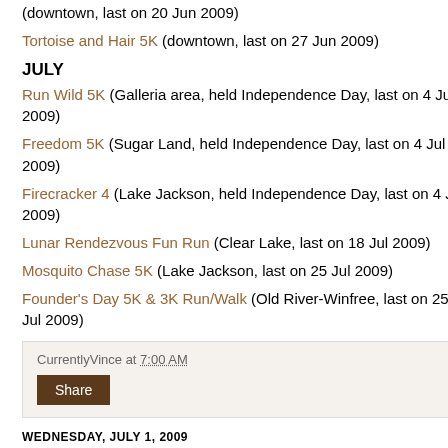(downtown, last on 20 Jun 2009)
Tortoise and Hair 5K (downtown, last on 27 Jun 2009)
JULY
Run Wild 5K (Galleria area, held Independence Day, last on 4 Jul 2009)
Freedom 5K (Sugar Land, held Independence Day, last on 4 Jul 2009)
Firecracker 4 (Lake Jackson, held Independence Day, last on 4 Jul 2009)
Lunar Rendezvous Fun Run (Clear Lake, last on 18 Jul 2009)
Mosquito Chase 5K (Lake Jackson, last on 25 Jul 2009)
Founder's Day 5K & 3K Run/Walk (Old River-Winfree, last on 25 Jul 2009)
CurrentlyVince at 7:00 AM
Share
WEDNESDAY, JULY 1, 2009
Houston Running Calendar — July